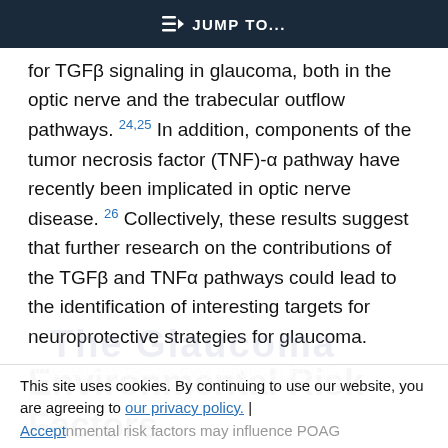≡D JUMP TO...
for TGFβ signaling in glaucoma, both in the optic nerve and the trabecular outflow pathways. 24,25 In addition, components of the tumor necrosis factor (TNF)-α pathway have recently been implicated in optic nerve disease. 26 Collectively, these results suggest that further research on the contributions of the TGFβ and TNFα pathways could lead to the identification of interesting targets for neuroprotective strategies for glaucoma.
Environmental Risk Factors
This site uses cookies. By continuing to use our website, you are agreeing to our privacy policy. | Accept
nmental risk factors may influence POAG therapy...